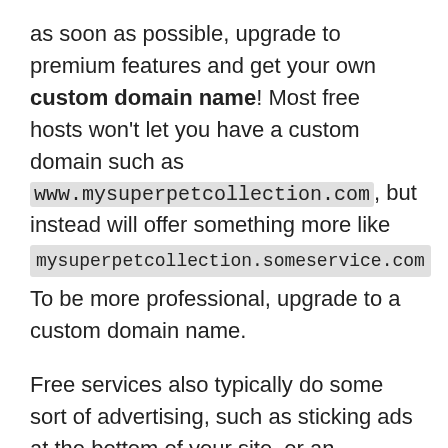as soon as possible, upgrade to premium features and get your own custom domain name! Most free hosts won't let you have a custom domain such as www.mysuperpetcollection.com, but instead will offer something more like mysuperpetcollection.someservice.com To be more professional, upgrade to a custom domain name.
Free services also typically do some sort of advertising, such as sticking ads at the bottom of your site, or an occasional popup shown to your users. Another reason to upgrade as soon as you can!